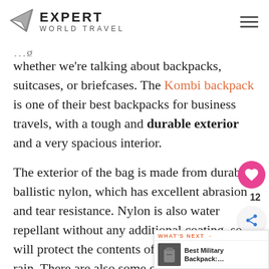Expert World Travel
whether we're talking about backpacks, suitcases, or briefcases. The Kombi backpack is one of their best backpacks for business travels, with a tough and durable exterior and a very spacious interior.
The exterior of the bag is made from durable ballistic nylon, which has excellent abrasion and tear resistance. Nylon is also water repellant without any additional coating, so will protect the contents of the pack in light rain. There are also some genuine details on the pack, which make it look more